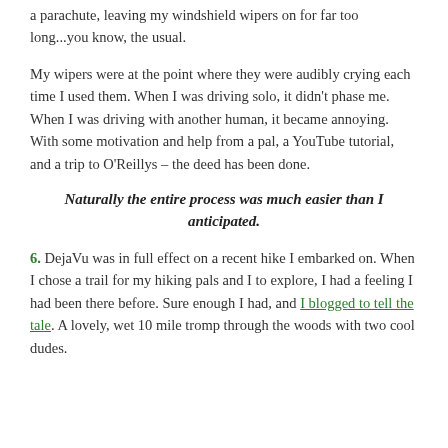a parachute, leaving my windshield wipers on for far too long...you know, the usual.
My wipers were at the point where they were audibly crying each time I used them. When I was driving solo, it didn't phase me. When I was driving with another human, it became annoying. With some motivation and help from a pal, a YouTube tutorial, and a trip to O'Reillys – the deed has been done.
Naturally the entire process was much easier than I anticipated.
6. DejaVu was in full effect on a recent hike I embarked on. When I chose a trail for my hiking pals and I to explore, I had a feeling I had been there before. Sure enough I had, and I blogged to tell the tale. A lovely, wet 10 mile tromp through the woods with two cool dudes.